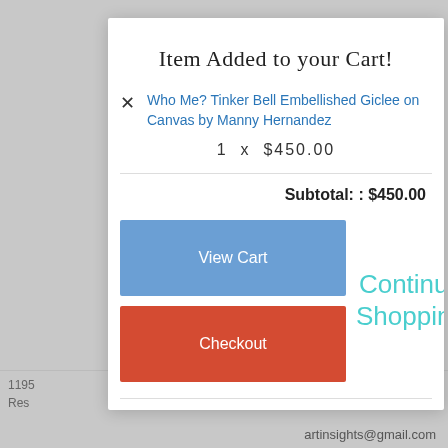Item Added to your Cart!
Who Me? Tinker Bell Embellished Giclee on Canvas by Manny Hernandez
1  x  $450.00
Subtotal: : $450.00
View Cart
Continue Shopping
Checkout
artinsights@gmail.com